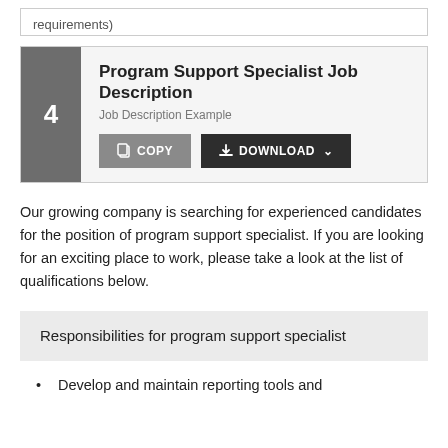requirements)
Program Support Specialist Job Description
Job Description Example
Our growing company is searching for experienced candidates for the position of program support specialist. If you are looking for an exciting place to work, please take a look at the list of qualifications below.
Responsibilities for program support specialist
Develop and maintain reporting tools and